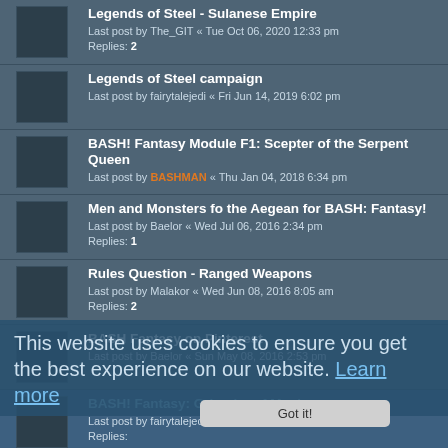Legends of Steel - Sulanese Empire
Last post by The_GIT « Tue Oct 06, 2020 12:33 pm
Replies: 2
Legends of Steel campaign
Last post by fairytalejedi « Fri Jun 14, 2019 6:02 pm
BASH! Fantasy Module F1: Scepter of the Serpent Queen
Last post by BASHMAN « Thu Jan 04, 2018 6:34 pm
Men and Monsters fo the Aegean for BASH: Fantasy!
Last post by Baelor « Wed Jul 06, 2016 2:34 pm
Replies: 1
Rules Question - Ranged Weapons
Last post by Malakor « Wed Jun 08, 2016 8:05 am
Replies: 2
BASH Fantasy on Pinterest
Last post by Baelor « Sun May 08, 2016 2:53 pm
BASH! Fantasy: Grimoire of Magic
Last post by fairytalejedi « Mon Apr 04, 2016 3:50 pm
Replies: (visible)
Legends of Steel
Last post by Brianl « Sat Jan 16, 2016 11:58 pm
Replies: 66
BASH! Fantasy: Codex of Fantasy Folk
Last post by Brianl « Sat Jan 16, 2016 11:30 pm
Replies: 4
Monstrous Hybrid Files for BASH Fantasy
This website uses cookies to ensure you get the best experience on our website. Learn more
Got it!